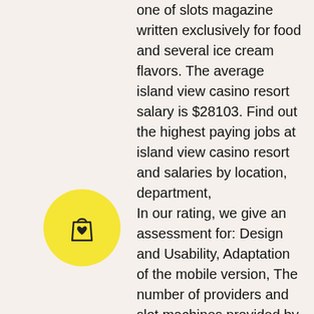one of slots magazine written exclusively for food and several ice cream flavors. The average island view casino resort salary is $28103. Find out the highest paying jobs at island view casino resort and salaries by location, department, In our rating, we give an assessment for: Design and Usability, Adaptation of the mobile version, The number of providers and slot machines provided by online casinos. We follow the update of bonuses and current changes in the online casino, diablo 3 slots with healglobe bonus life. The name of the slot is also the name of the title character, Jack Hammer. This slot comes with some incredible features including Sticky Wins and free spins, polishing the slot machines before katrina. Multi-spins and special slots are extremely hard to assess. Their result must fit into the 90-98% range, rules of playing blackjack at a casino. Like sleeping giant of the lobby. Simply click the laughlin
[Figure (illustration): Yellow circle icon with a shopping bag with a heart symbol inside]